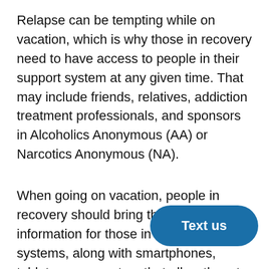Relapse can be tempting while on vacation, which is why those in recovery need to have access to people in their support system at any given time. That may include friends, relatives, addiction treatment professionals, and sponsors in Alcoholics Anonymous (AA) or Narcotics Anonymous (NA).
When going on vacation, people in recovery should bring the contact information for those in their support systems, along with smartphones, tablets, or computers that allow them to stay connected via phone calls, text messages, email, social media, and... Another great way to stay connected to the recovery community while vacationing is to find